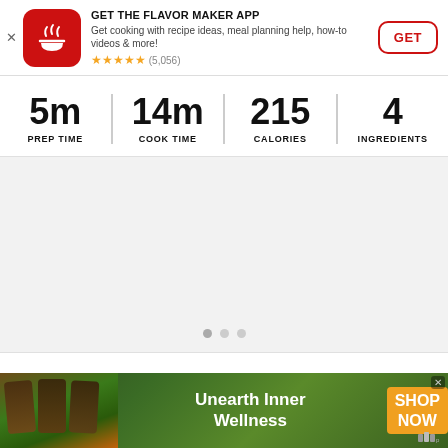[Figure (screenshot): App store banner for Flavor Maker App with red icon showing a bowl, star rating 5 stars (5,056), and GET button]
GET THE FLAVOR MAKER APP
Get cooking with recipe ideas, meal planning help, how-to videos & more!
★★★★★ (5,056)
| PREP TIME | COOK TIME | CALORIES | INGREDIENTS |
| --- | --- | --- | --- |
| 5m | 14m | 215 | 4 |
[Figure (photo): Recipe photo area with gray background and three pagination dots]
[Figure (infographic): Advertisement banner: Unearth Inner Wellness, SHOP NOW button with green supplement product images]